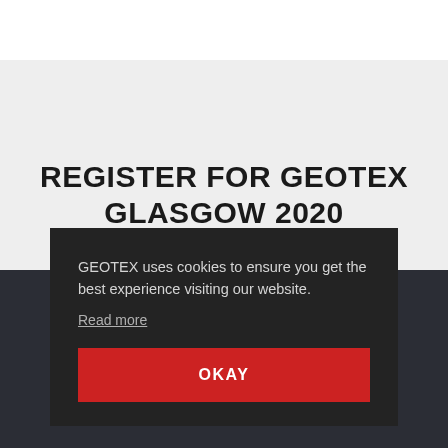REGISTER FOR GEOTEX GLASGOW 2020
GEOTEX uses cookies to ensure you get the best experience visiting our website.
Read more
OKAY